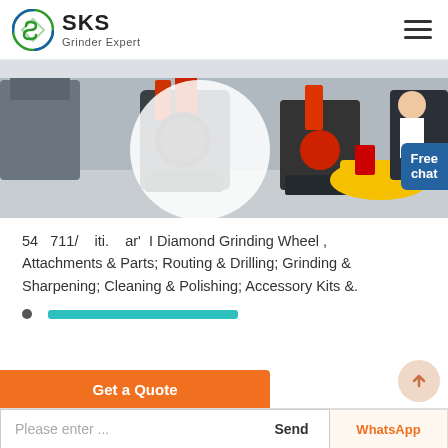SKS Grinder Expert
[Figure (photo): Industrial grinding/crushing machines in a factory showroom, with orange and red machinery visible. A customer service representative is shown in the top right corner. A 'Free chat' button overlay is present.]
54 711 iti. ar I Diamond Grinding Wheel , Attachments & Parts; Routing & Drilling; Grinding & Sharpening; Cleaning & Polishing; Accessory Kits &.
Please enter ...
Send
Get a Quote
WhatsApp